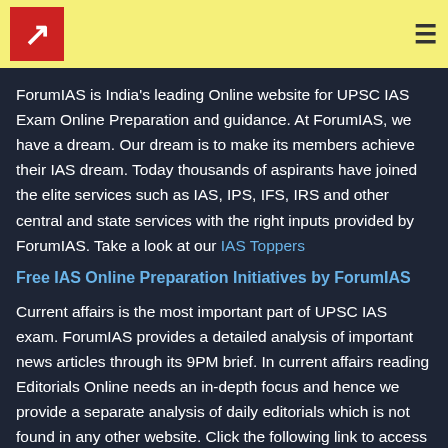ForumIAS logo and navigation header
ForumIAS is India's leading Online website for UPSC IAS Exam Online Preparation and guidance. At ForumIAS, we have a dream. Our dream is to make its members achieve their IAS dream. Today thousands of aspirants have joined the elite services such as IAS, IPS, IFS, IRS and other central and state services with the right inputs provided by ForumIAS. Take a look at our IAS Toppers
Free IAS Online Preparation Initiatives by ForumIAS
Current affairs is the most important part of UPSC IAS exam. ForumIAS provides a detailed analysis of important news articles through its 9PM brief. In current affairs reading Editorials Online needs an in-depth focus and hence we provide a separate analysis of daily editorials which is not found in any other website. Click the following link to access these free preparation initiatives in Portal. ForumIAS also